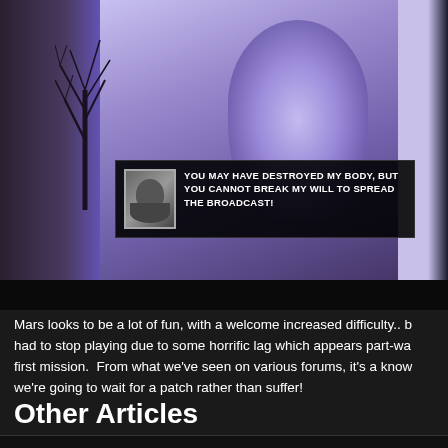[Figure (screenshot): Screenshot from a video game showing a dark fantasy/sci-fi scene. On the left is a tree silhouette against a dark background. The center and right show glowing blue-purple mystical imagery with a figure. A dialog box overlay reads: 'YOU MAY HAVE DESTROYED MY BODY, BUT YOU CANNOT BREAK MY WILL TO SPREAD THE BROADCAST!' with a character portrait on the left side of the dialog.]
Mars looks to be a lot of fun, with a welcome increased difficulty.. b had to stop playing due to some horrific lag which appears part-wa first mission.  From what we've seen on various forums, it's a know we're going to wait for a patch rather than suffer!
Other Articles